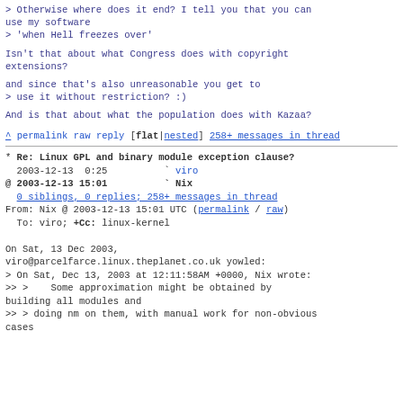> Otherwise where does it end? I tell you that you can use my software
> 'when Hell freezes over'
Isn't that about what Congress does with copyright extensions?
and since that's also unreasonable you get to
> use it without restriction? :)
And is that about what the population does with Kazaa?
^ permalink raw reply    [flat|nested] 258+ messages in thread
* Re: Linux GPL and binary module exception clause?
  2003-12-13  0:25          ` viro
@ 2003-12-13 15:01          ` Nix
  0 siblings, 0 replies; 258+ messages in thread
From: Nix @ 2003-12-13 15:01 UTC (permalink / raw)
  To: viro; +Cc: linux-kernel

On Sat, 13 Dec 2003,
viro@parcelfarce.linux.theplanet.co.uk yowled:
> On Sat, Dec 13, 2003 at 12:11:58AM +0000, Nix wrote:
>> >    Some approximation might be obtained by building all modules and
>> > doing nm on them, with manual work for non-obvious cases